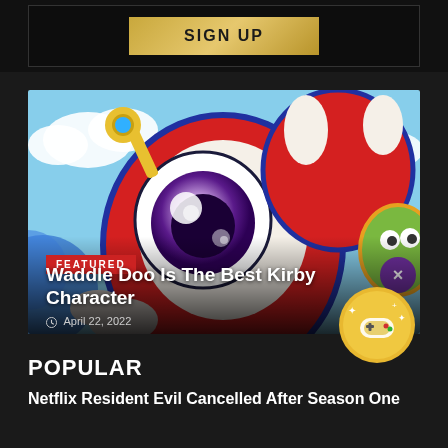[Figure (screenshot): Sign Up button with gold gradient styling on dark background banner]
[Figure (illustration): Featured article image showing Kirby game characters with colorful cartoon illustration — Waddle Doo with large purple eye, Kirby character in red, and other characters on blue/sky background. Overlay shows FEATURED badge, article title and date.]
FEATURED
Waddle Doo Is The Best Kirby Character
April 22, 2022
[Figure (logo): Circular gold badge icon with game controller and sparkles]
POPULAR
Netflix Resident Evil Cancelled After Season One